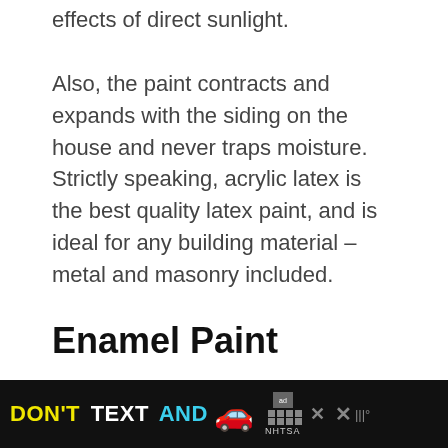effects of direct sunlight.

Also, the paint contracts and expands with the siding on the house and never traps moisture. Strictly speaking, acrylic latex is the best quality latex paint, and is ideal for any building material – metal and masonry included.
Enamel Paint
This type of paint is perfect if you want something that will be quite rugged. Enamel paint is known for its durability and can withstand much punishment.
[Figure (other): Advertisement banner: DON'T TEXT AND [car emoji] ad with NHTSA logo on black background]